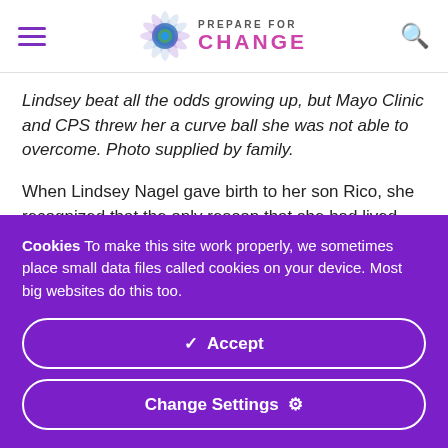Prepare For Change
Lindsey beat all the odds growing up, but Mayo Clinic and CPS threw her a curve ball she was not able to overcome. Photo supplied by family.
When Lindsey Nagel gave birth to her son Rico, she recognized that the only reason that she had lived long
Cookies To make this site work properly, we sometimes place small data files called cookies on your device. Most big websites do this too.
Accept
Change Settings